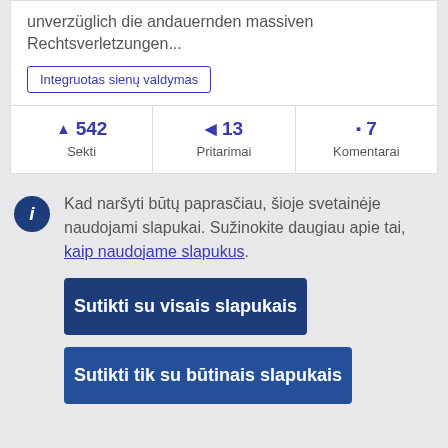unverzüglich die andauernden massiven Rechtsverletzungen...
Integruotas sienų valdymas
| Sekti | Pritarimai | Komentarai |
| --- | --- | --- |
| ▲ 542 | ◀ 13 | ▪ 7 |
Kad naršyti būtų paprasčiau, šioje svetainėje naudojami slapukai. Sužinokite daugiau apie tai, kaip naudojame slapukus.
Sutikti su visais slapukais
Sutikti tik su būtinais slapukais